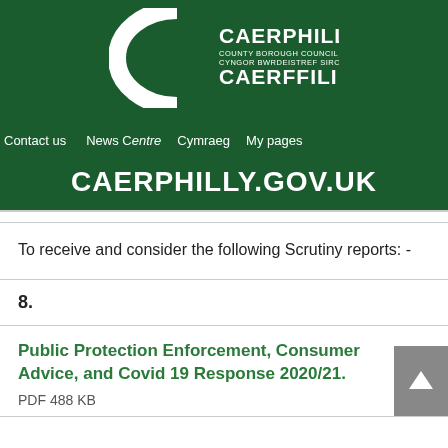[Figure (logo): Caerphilly County Borough Council / Cyngor Bwrdeistref Sirol Caerffili logo in white on dark green background]
Contact us   News Centre   Cymraeg   My pages
CAERPHILLY.GOV.UK
To receive and consider the following Scrutiny reports: -
8.
Public Protection Enforcement, Consumer Advice, and Covid 19 Response 2020/21.
PDF 488 KB